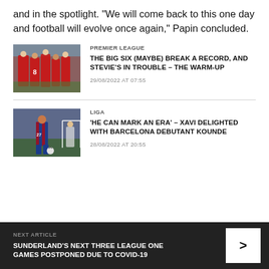and in the spotlight. "We will come back to this one day and football will evolve once again," Papin concluded.
PREMIER LEAGUE | THE BIG SIX (MAYBE) BREAK A RECORD, AND STEVIE'S IN TROUBLE – THE WARM-UP | 29/08/2022 AT 07:55
LIGA | 'HE CAN MARK AN ERA' – XAVI DELIGHTED WITH BARCELONA DEBUTANT KOUNDE | 28/08/2022 AT 20:55
NEXT ARTICLE | SUNDERLAND'S NEXT THREE LEAGUE ONE GAMES POSTPONED DUE TO COVID-19